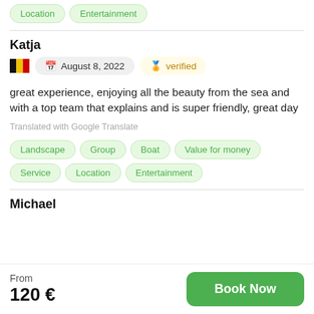Location  Entertainment
Katja
August 8, 2022   verified
great experience, enjoying all the beauty from the sea and with a top team that explains and is super friendly, great day
Translated with Google Translate
Landscape  Group  Boat  Value for money  Service  Location  Entertainment
Michael
From
120 €
Book Now